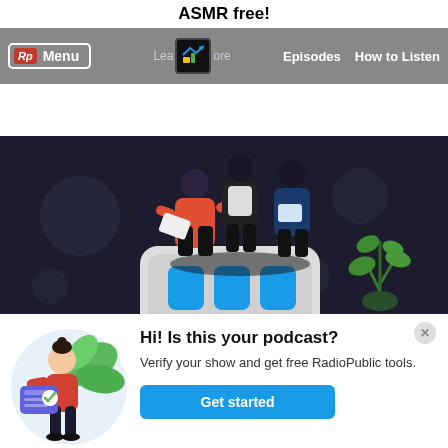ASMR free!
[Figure (screenshot): Navigation bar with RadioPublic logo, Menu button, podcast icon, Learn More text, Episodes and How to Listen links]
[Figure (illustration): Dark background hero illustration showing three people standing around a large smartphone with blue bars, and a green plant nearby]
[Figure (illustration): Popup card with illustration of woman holding a verification card with a checkmark, green leaves in background]
Hi! Is this your podcast?
Verify your show and get free RadioPublic tools.
Get started